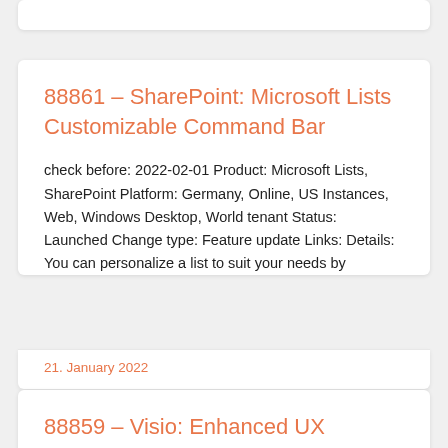88861 – SharePoint: Microsoft Lists Customizable Command Bar
check before: 2022-02-01 Product: Microsoft Lists, SharePoint Platform: Germany, Online, US Instances, Web, Windows Desktop, World tenant Status: Launched Change type: Feature update Links: Details: You can personalize a list to suit your needs by
21. January 2022
88859 – Visio: Enhanced UX interactivity and responsiveness in